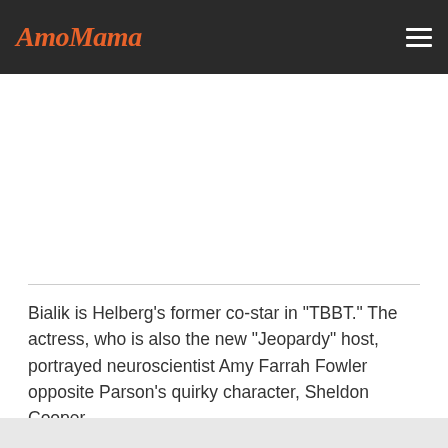AmoMama
Bialik is Helberg's former co-star in "TBBT." The actress, who is also the new "Jeopardy" host, portrayed neuroscientist Amy Farrah Fowler opposite Parson's quirky character, Sheldon Cooper.
Like Helberg, Parsons, and Bialik, their other co-stars-